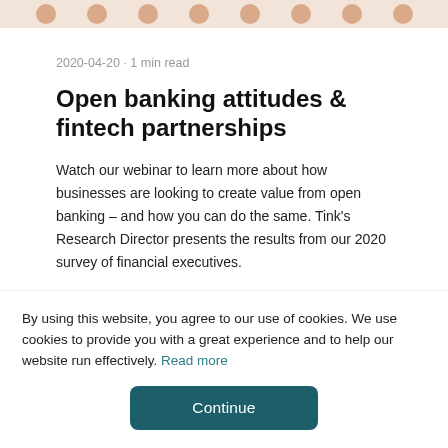2020-04-20 · 1 min read
Open banking attitudes & fintech partnerships
Watch our webinar to learn more about how businesses are looking to create value from open banking – and how you can do the same. Tink's Research Director presents the results from our 2020 survey of financial executives.
Read more →
By using this website, you agree to our use of cookies. We use cookies to provide you with a great experience and to help our website run effectively. Read more
Continue